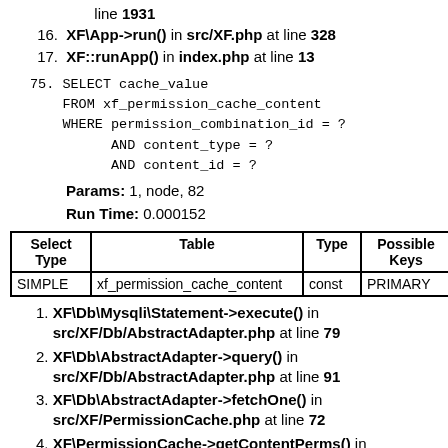line 1931
16. XF\App->run() in src/XF.php at line 328
17. XF::runApp() in index.php at line 13
75. SELECT cache_value
    FROM xf_permission_cache_content
    WHERE permission_combination_id = ?
          AND content_type = ?
          AND content_id = ?
Params: 1, node, 82
Run Time: 0.000152
| Select Type | Table | Type | Possible Keys | Ke |
| --- | --- | --- | --- | --- |
| SIMPLE | xf_permission_cache_content | const | PRIMARY | PR |
1. XF\Db\Mysqli\Statement->execute() in src/XF/Db/AbstractAdapter.php at line 79
2. XF\Db\AbstractAdapter->query() in src/XF/Db/AbstractAdapter.php at line 91
3. XF\Db\AbstractAdapter->fetchOne() in src/XF/PermissionCache.php at line 72
4. XF\PermissionCache->getContentPerms() in src/XF/PermissionSet.php at line 51
5. XF\PermissionSet->hasContentPermission() in src/XF/Entity/User.php at line 913